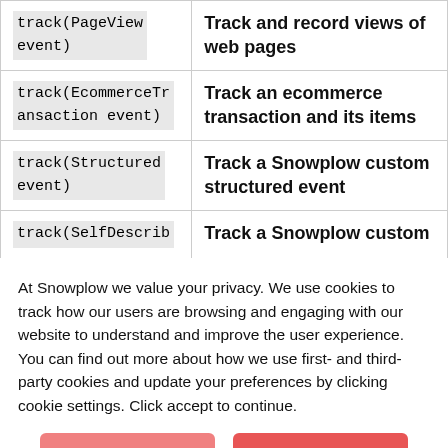| Method | Description |
| --- | --- |
| track(PageView event) | Track and record views of web pages |
| track(EcommerceTransaction event) | Track an ecommerce transaction and its items |
| track(Structured event) | Track a Snowplow custom structured event |
| track(SelfDescrib | Track a Snowplow custom |
At Snowplow we value your privacy. We use cookies to track how our users are browsing and engaging with our website to understand and improve the user experience. You can find out more about how we use first- and third-party cookies and update your preferences by clicking cookie settings. Click accept to continue.